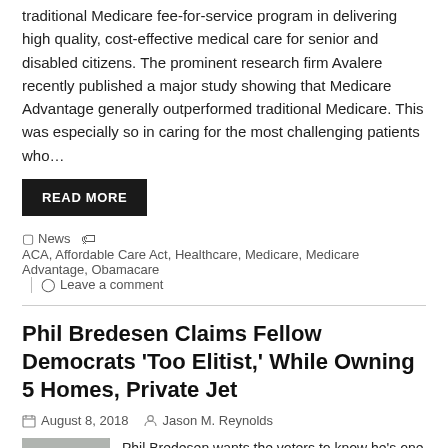traditional Medicare fee-for-service program in delivering high quality, cost-effective medical care for senior and disabled citizens. The prominent research firm Avalere recently published a major study showing that Medicare Advantage generally outperformed traditional Medicare. This was especially so in caring for the most challenging patients who…
READ MORE
News  ACA, Affordable Care Act, Healthcare, Medicare, Medicare Advantage, Obamacare  Leave a comment
Phil Bredesen Claims Fellow Democrats 'Too Elitist,' While Owning 5 Homes, Private Jet
August 8, 2018   Jason M. Reynolds
[Figure (photo): Photo of Phil Bredesen, an older man in a suit]
Phil Bredesen wants the voters to know he's one of them, a working-class guy just working to earn a living — but that's far from the truth